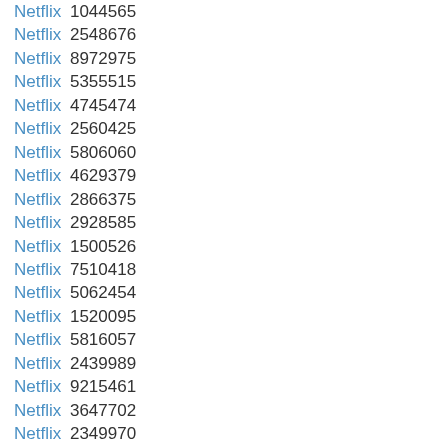Netflix 1044565
Netflix 2548676
Netflix 8972975
Netflix 5355515
Netflix 4745474
Netflix 2560425
Netflix 5806060
Netflix 4629379
Netflix 2866375
Netflix 2928585
Netflix 1500526
Netflix 7510418
Netflix 5062454
Netflix 1520095
Netflix 5816057
Netflix 2439989
Netflix 9215461
Netflix 3647702
Netflix 2349970
Netflix 38420
Netflix 9153832
Netflix 9551208
Netflix 5305195
Netflix 2854717